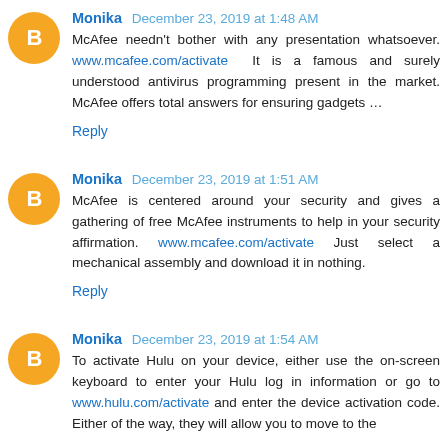Monika December 23, 2019 at 1:48 AM
McAfee needn't bother with any presentation whatsoever. www.mcafee.com/activate It is a famous and surely understood antivirus programming present in the market. McAfee offers total answers for ensuring gadgets …
Reply
Monika December 23, 2019 at 1:51 AM
McAfee is centered around your security and gives a gathering of free McAfee instruments to help in your security affirmation. www.mcafee.com/activate Just select a mechanical assembly and download it in nothing.
Reply
Monika December 23, 2019 at 1:54 AM
To activate Hulu on your device, either use the on-screen keyboard to enter your Hulu log in information or go to www.hulu.com/activate and enter the device activation code. Either of the way, they will allow you to move to the